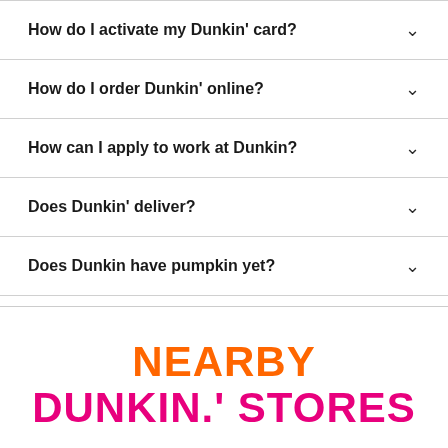How do I activate my Dunkin' card?
How do I order Dunkin' online?
How can I apply to work at Dunkin?
Does Dunkin' deliver?
Does Dunkin have pumpkin yet?
NEARBY DUNKIN.' STORES